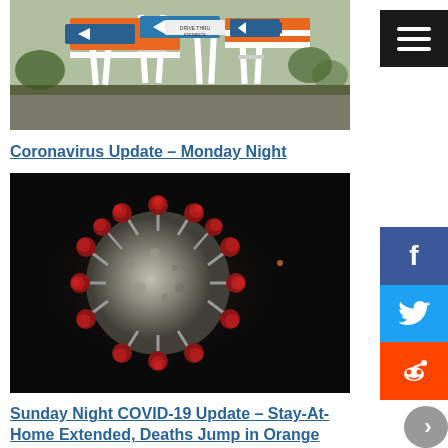[Figure (photo): Photo of COVID-19 testing site with directional signs on A-frame stands outdoors on grass]
Coronavirus Update – Monday Night
[Figure (photo): Close-up 3D illustration of coronavirus particle on dark background]
Sunday Night COVID-19 Update – Stay-At-Home Extended, Deaths Jump in Orange
[Figure (photo): Partial view of another COVID-related photo at bottom of page]